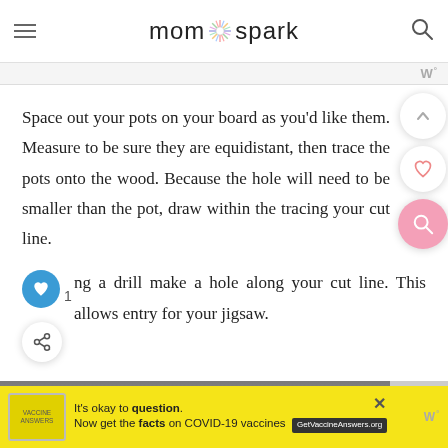mom spark
Space out your pots on your board as you'd like them. Measure to be sure they are equidistant, then trace the pots onto the wood. Because the hole will need to be smaller than the pot, draw within the tracing your cut line.
1  Using a drill make a hole along your cut line. This allows entry for your jigsaw.
[Figure (photo): Hands holding a jigsaw tool, partially visible at the bottom of the page]
It's okay to question. Now get the facts on COVID-19 vaccines  GetVaccineAnswers.org